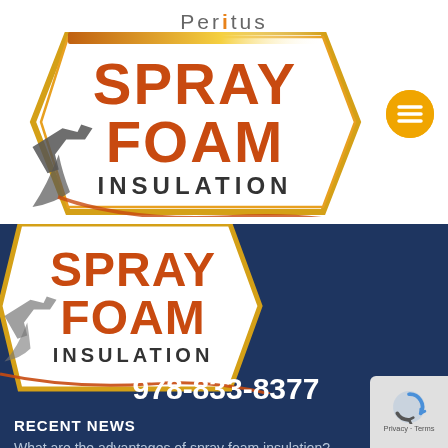[Figure (logo): Peritus Spray Foam Insulation logo on white background with spray gun graphic, chevron/hexagon badge shape in orange and yellow, and hamburger menu button]
[Figure (logo): Peritus Spray Foam Insulation logo repeated on dark navy background with spray gun graphic and chevron badge]
978-833-8377
RECENT NEWS
What are the advantages of spray foam insulation?